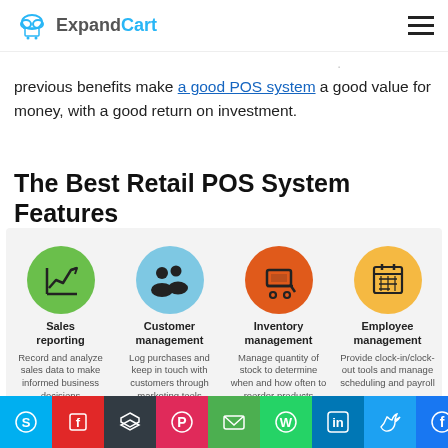ExpandCart
previous benefits make a good POS system a good value for money, with a good return on investment.
The Best Retail POS System Features
[Figure (infographic): Four circular icons representing POS system features: Sales reporting (green circle, chart icon), Customer management (blue circle, people icon), Inventory management (orange circle, cart icon), Employee management (gold circle, calendar icon). Each with a title and short description below.]
Social sharing bar: Skype, Flipboard, Buffer, Pinterest, Email, WhatsApp, LinkedIn, Twitter, Facebook